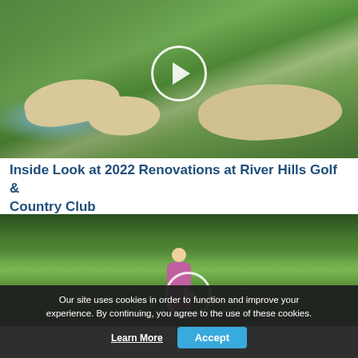[Figure (photo): Aerial view of a golf course green with sand bunkers and a water feature, with a white circular play button overlay indicating a video thumbnail]
Inside Look at 2022 Renovations at River Hills Golf & Country Club
[Figure (photo): Golf course scene with trees in background and a female golfer in pink, with a white circular play button overlay indicating a video thumbnail]
Our site uses cookies in order to function and improve your experience. By continuing, you agree to the use of these cookies. Learn More  Accept